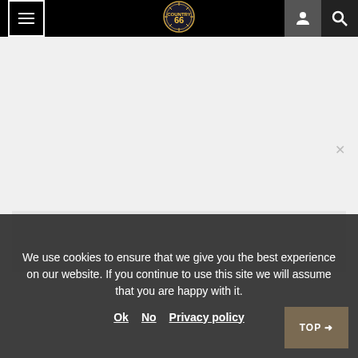[Figure (screenshot): Website navigation bar with hamburger menu icon on left, circular logo in center (Country 66), user account icon and search icon on right, all on black background]
[Figure (screenshot): Main website content area - light gray background with partial gray card/section visible]
We use cookies to ensure that we give you the best experience on our website. If you continue to use this site we will assume that you are happy with it.
Ok   No   Privacy policy